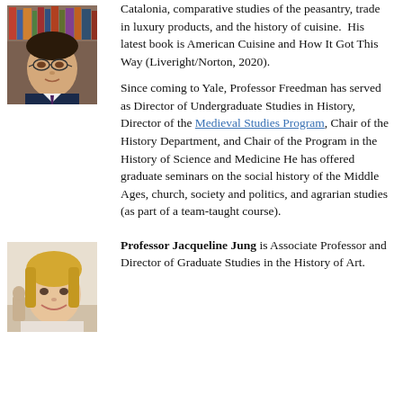[Figure (photo): Headshot of Professor Freedman, a middle-aged man wearing glasses and a suit with a tie, bookshelves visible in background]
Catalonia, comparative studies of the peasantry, trade in luxury products, and the history of cuisine.  His latest book is American Cuisine and How It Got This Way (Liveright/Norton, 2020).
Since coming to Yale, Professor Freedman has served as Director of Undergraduate Studies in History, Director of the Medieval Studies Program, Chair of the History Department, and Chair of the Program in the History of Science and Medicine He has offered graduate seminars on the social history of the Middle Ages, church, society and politics, and agrarian studies (as part of a team-taught course).
[Figure (photo): Headshot of Professor Jacqueline Jung, a woman with blonde hair, smiling]
Professor Jacqueline Jung is Associate Professor and Director of Graduate Studies in the History of Art.